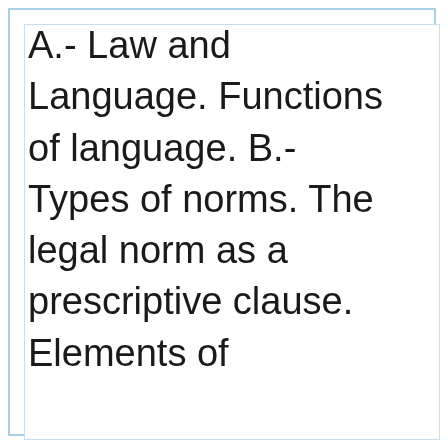A.- Law and Language. Functions of language. B.- Types of norms. The legal norm as a prescriptive clause. Elements of